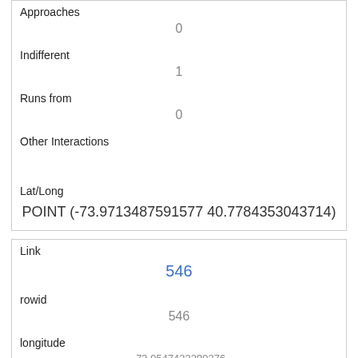| Approaches | 0 |
| Indifferent | 1 |
| Runs from | 0 |
| Other Interactions |  |
| Lat/Long | POINT (-73.9713487591577 40.7784353043714) |
| Link | 546 |
| rowid | 546 |
| longitude | -73.9547423290276 |
| latitude | 40.7899702628835 |
| Unique Squirrel ID | 33I-PM-1006-09 |